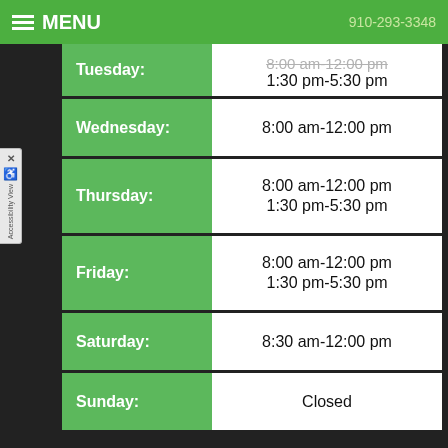MENU | 910-293-3348
| Day | Hours |
| --- | --- |
| Tuesday | 8:00 am-12:00 pm
1:30 pm-5:30 pm |
| Wednesday | 8:00 am-12:00 pm |
| Thursday | 8:00 am-12:00 pm
1:30 pm-5:30 pm |
| Friday | 8:00 am-12:00 pm
1:30 pm-5:30 pm |
| Saturday | 8:30 am-12:00 pm |
| Sunday | Closed |